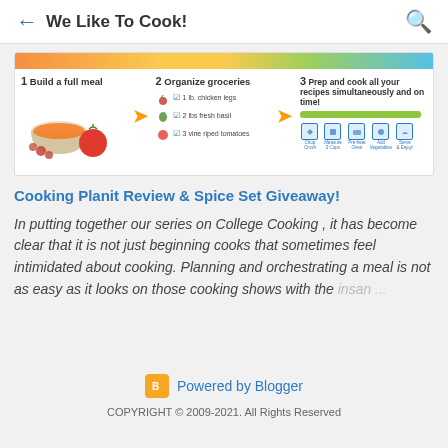We Like To Cook!
[Figure (infographic): Three-step cooking planning infographic: 1) Build a full meal (image of food bowl and vegetables), 2) Organize groceries (checklist with 1 lb. chicken legs, 2 lbs fresh basil, 3 vine ripened tomatoes), 3) Prep and cook all your recipes simultaneously and on time! (progress bar and step icons: Chop/Crush, Measure & Clean, Pre-heat Oven, Add Vegetables, Serve & Enjoy)]
Cooking Planit Review & Spice Set Giveaway!
In putting together our series on College Cooking , it has become clear that it is not just beginning cooks that sometimes feel intimidated about cooking. Planning and orchestrating a meal is not as easy as it looks on those cooking shows with the insan...
Powered by Blogger
COPYRIGHT © 2009-2021. All Rights Reserved